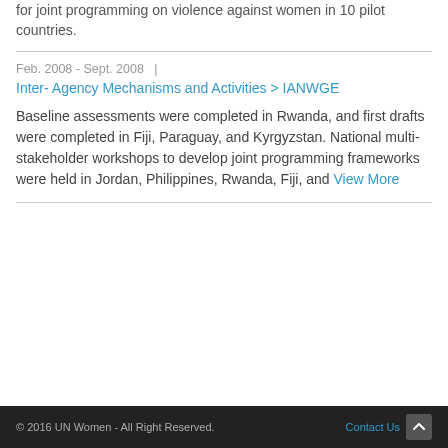for joint programming on violence against women in 10 pilot countries.
Feb. 2008 - Sept. 2008  |
Inter- Agency Mechanisms and Activities > IANWGE
Baseline assessments were completed in Rwanda, and first drafts were completed in Fiji, Paraguay, and Kyrgyzstan. National multi-stakeholder workshops to develop joint programming frameworks were held in Jordan, Philippines, Rwanda, Fiji, and View More
© 2016 UN Women - All Right Reserved.  Contact Us